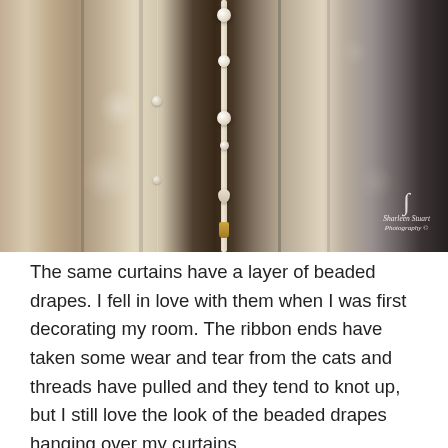[Figure (photo): Close-up photograph of beaded curtain drapes hanging in front of fabric curtains. Delicate white ribbon strands with pearl beads are visible in soft focus against textured curtain fabric in beige, cream, and dark tones. A watermark reading 'Sharleen Stuart Photography ©' appears in the lower right corner.]
The same curtains have a layer of beaded drapes. I fell in love with them when I was first decorating my room. The ribbon ends have taken some wear and tear from the cats and threads have pulled and they tend to knot up, but I still love the look of the beaded drapes hanging over my curtains.